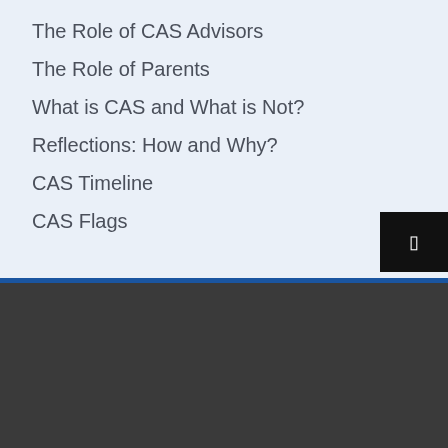The Role of CAS Advisors
The Role of Parents
What is CAS and What is Not?
Reflections: How and Why?
CAS Timeline
CAS Flags
Copyright © 2022
Diocesan Boys' School, Hong Kong